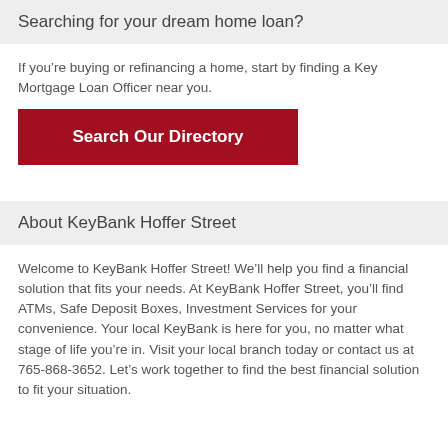Searching for your dream home loan?
If you’re buying or refinancing a home, start by finding a Key Mortgage Loan Officer near you.
[Figure (other): Red button labeled 'Search Our Directory']
About KeyBank Hoffer Street
Welcome to KeyBank Hoffer Street! We’ll help you find a financial solution that fits your needs. At KeyBank Hoffer Street, you’ll find ATMs, Safe Deposit Boxes, Investment Services for your convenience. Your local KeyBank is here for you, no matter what stage of life you’re in. Visit your local branch today or contact us at 765-868-3652. Let’s work together to find the best financial solution to fit your situation.